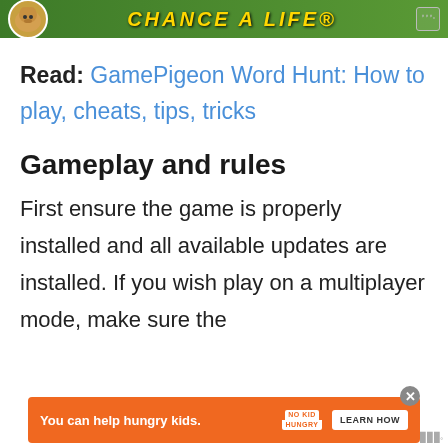[Figure (other): Top advertisement banner with green background, dog image, stylized text 'CHANCE A LIFE' in gold, and ad marker]
Read: GamePigeon Word Hunt: How to play, cheats, tips, tricks
Gameplay and rules
First ensure the game is properly installed and all available updates are installed. If you wish play on a multiplayer mode, make sure the
[Figure (other): Bottom advertisement banner: orange background with text 'You can help hungry kids.' No Kid Hungry logo and LEARN HOW button]